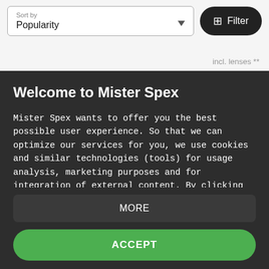[Figure (screenshot): Sort by Popularity dropdown and Filter button in top navigation bar of an e-commerce website]
incl. lenses **
Welcome to Mister Spex
Mister Spex wants to offer you the best possible user experience. So that we can optimize our services for you, we use cookies and similar technologies (tools) for usage analysis, marketing purposes and for integration of external content. By clicking "Accept", you consent to the use of cookies and other technologies to process your data, including the transfer to our external partners. This may include the processing of your data...
MORE
ACCEPT